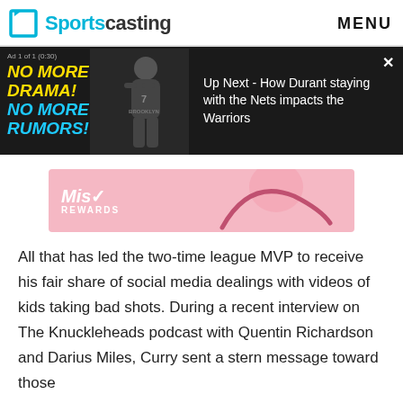Sportscasting  MENU
[Figure (screenshot): Video ad banner with text 'Ad 1 of 1 (0:30)', 'NO MORE DRAMA! NO MORE RUMORS!' in yellow/blue, image of Brooklyn Nets player #7, and text 'Up Next - How Durant staying with the Nets impacts the Warriors']
[Figure (other): Pink banner ad for Mist Rewards with logo and decorative graphic]
All that has led the two-time league MVP to receive his fair share of social media dealings with videos of kids taking bad shots. During a recent interview on The Knuckleheads podcast with Quentin Richardson and Darius Miles, Curry sent a stern message toward those